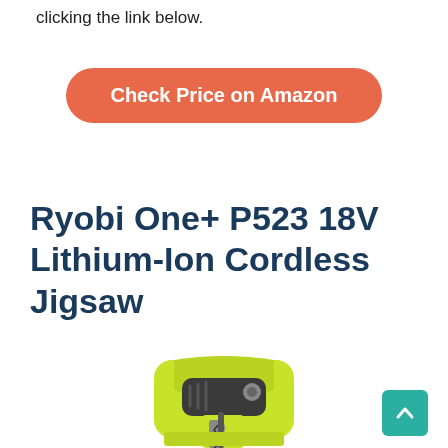clicking the link below.
[Figure (other): Orange rounded rectangle button labeled 'Check Price on Amazon']
Ryobi One+ P523 18V Lithium-Ion Cordless Jigsaw
[Figure (photo): Partial photo of a Ryobi One+ P523 18V cordless jigsaw in yellow-green and grey colors, showing the handle and blade area from the top.]
[Figure (other): Teal back-to-top button with upward chevron arrow icon in the bottom-right corner.]